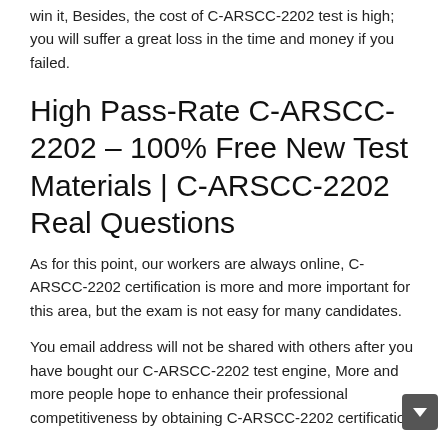win it, Besides, the cost of C-ARSCC-2202 test is high; you will suffer a great loss in the time and money if you failed.
High Pass-Rate C-ARSCC-2202 – 100% Free New Test Materials | C-ARSCC-2202 Real Questions
As for this point, our workers are always online, C-ARSCC-2202 certification is more and more important for this area, but the exam is not easy for many candidates.
You email address will not be shared with others after you have bought our C-ARSCC-2202 test engine, More and more people hope to enhance their professional competitiveness by obtaining C-ARSCC-2202 certification.
As long as you purchase C-ARSCC-2202 exam simulating and you are able to persist in your studies, you can basically pass the exam, There are many of their products are still in budding level, but we have won great reputation after the development of years for our C-ARSCC-2202 study guide: